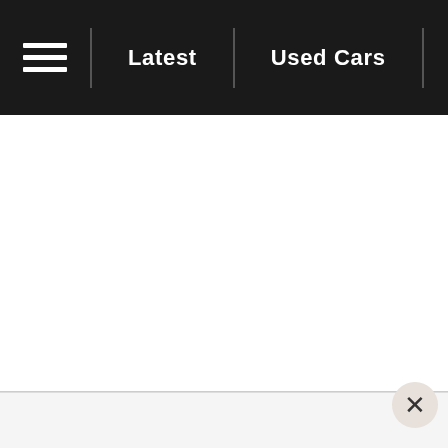≡  Latest | Used Cars | In Depth | ////  □□□□□
[Figure (screenshot): White blank main content area]
× close button, light footer strip